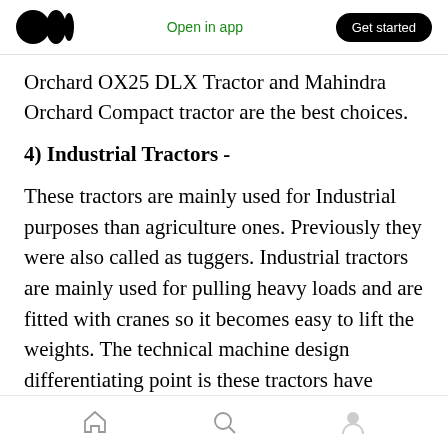Medium logo | Open in app | Get started
Orchard OX25 DLX Tractor and Mahindra Orchard Compact tractor are the best choices.
4) Industrial Tractors -
These tractors are mainly used for Industrial purposes than agriculture ones. Previously they were also called as tuggers. Industrial tractors are mainly used for pulling heavy loads and are fitted with cranes so it becomes easy to lift the weights. The technical machine design differentiating point is these tractors have drawbar instead of three-point linkages.
Home | Search | Profile